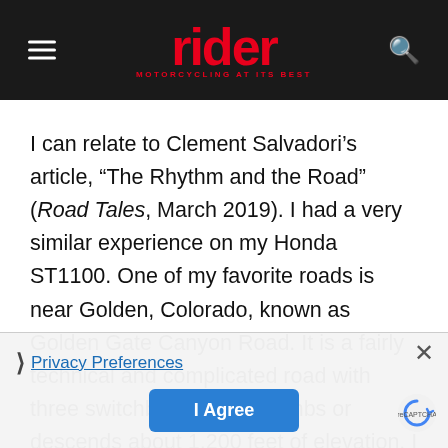rider MOTORCYCLING AT ITS BEST
I can relate to Clement Salvadori’s article, “The Rhythm and the Road” (Road Tales, March 2019). I had a very similar experience on my Honda ST1100. One of my favorite roads is near Golden, Colorado, known as Golden Gate Canyon Road. It is a fairly technical and complicated road with three switchbacks and it climbs or descends about 1,200 feet of elevation. I would ride this road over and over again, getting more and more confident time and increasing my speed through each switchback. Then one day, as I was descending one
Privacy Preferences  I Agree